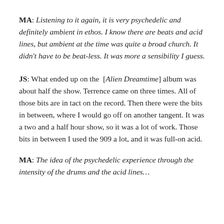MA: Listening to it again, it is very psychedelic and definitely ambient in ethos. I know there are beats and acid lines, but ambient at the time was quite a broad church. It didn't have to be beat-less. It was more a sensibility I guess.
JS: What ended up on the [Alien Dreamtime] album was about half the show. Terrence came on three times. All of those bits are in tact on the record. Then there were the bits in between, where I would go off on another tangent. It was a two and a half hour show, so it was a lot of work. Those bits in between I used the 909 a lot, and it was full-on acid.
MA: The idea of the psychedelic experience through the intensity of the drums and the acid lines…